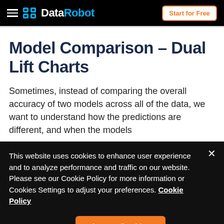DataRobot | Start for Free
Model Comparison – Dual Lift Charts
Sometimes, instead of comparing the overall accuracy of two models across all of the data, we want to understand how the predictions are different, and when the models
This website uses cookies to enhance user experience and to analyze performance and traffic on our website. Please see our Cookie Policy for more information or Cookies Settings to adjust your preferences. Cookie Policy
Cookie Settings | Accept Cookies